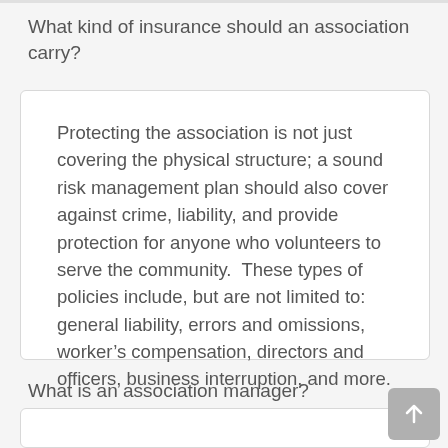What kind of insurance should an association carry?
Protecting the association is not just covering the physical structure; a sound risk management plan should also cover against crime, liability, and provide protection for anyone who volunteers to serve the community.  These types of policies include, but are not limited to: general liability, errors and omissions, worker’s compensation, directors and officers, business interruption, and more.
What is an association manager?